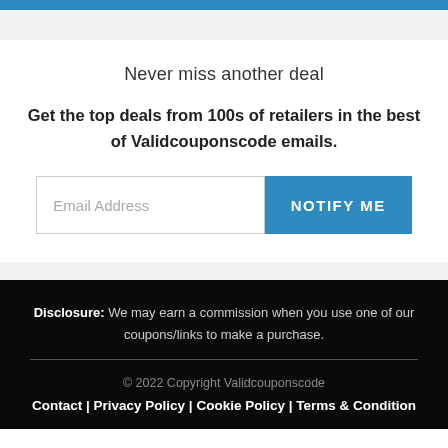Never miss another deal
Get the top deals from 100s of retailers in the best of Validcouponscode emails.
Email Address | NOTIFY ME
Disclosure: We may earn a commission when you use one of our coupons/links to make a purchase.
© 2022 Copyright Validcouponscode
Contact | Privacy Policy | Cookie Policy | Terms & Condition